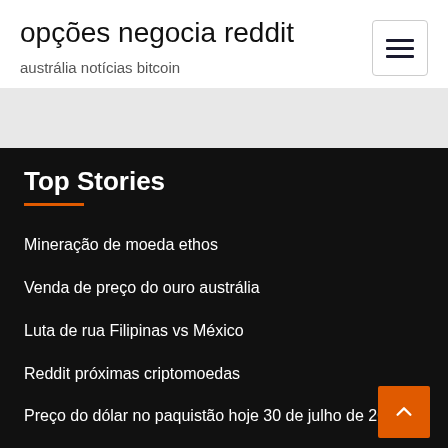opções negocia reddit
austrália notícias bitcoin
Top Stories
Mineração de moeda ethos
Venda de preço do ouro austrália
Luta de rua Filipinas vs México
Reddit próximas criptomoedas
Preço do dólar no paquistão hoje 30 de julho de 2020